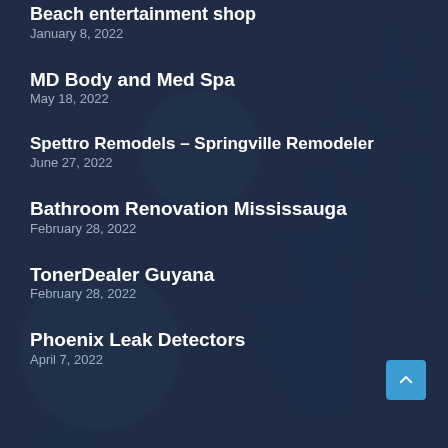Beach entertainment shop
January 8, 2022
MD Body and Med Spa
May 18, 2022
Spettro Remodels – Springville Remodeler
June 27, 2022
Bathroom Renovation Mississauga
February 28, 2022
TonerDealer Guyana
February 28, 2022
Phoenix Leak Detectors
April 7, 2022